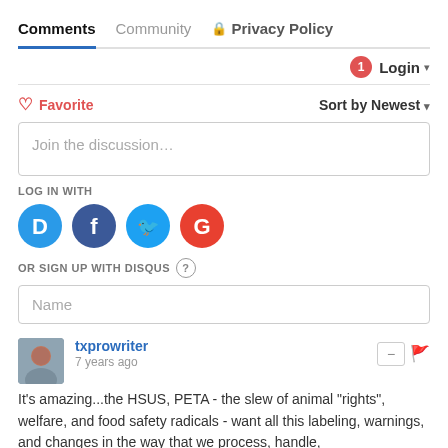Comments  Community  Privacy Policy
Login ▾
♡ Favorite   Sort by Newest ▾
Join the discussion...
LOG IN WITH
[Figure (logo): Social login icons: Disqus (D), Facebook (f), Twitter (bird), Google (G)]
OR SIGN UP WITH DISQUS ?
Name
txprowriter
7 years ago
It's amazing...the HSUS, PETA - the slew of animal "rights", welfare, and food safety radicals - want all this labeling, warnings, and changes in the way that we process, handle,